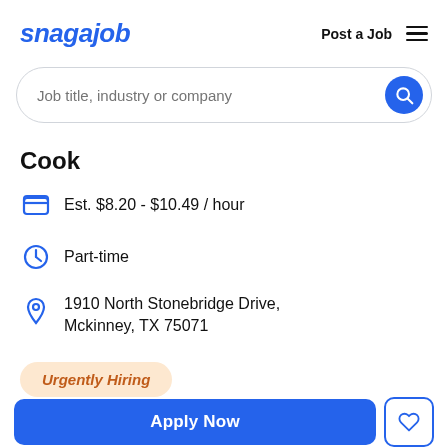snagajob | Post a Job
Job title, industry or company
Cook
Est. $8.20 - $10.49 / hour
Part-time
1910 North Stonebridge Drive, Mckinney, TX 75071
Urgently Hiring
Apply Now